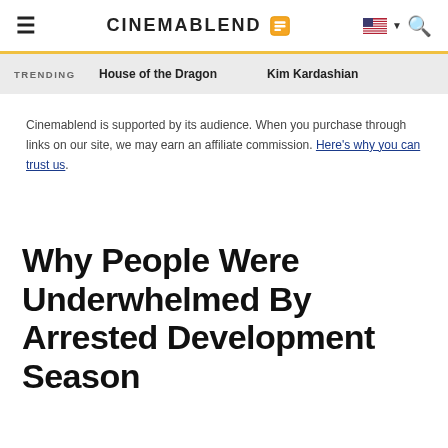CinemaBlend
TRENDING  House of the Dragon  Kim Kardashian
Cinemablend is supported by its audience. When you purchase through links on our site, we may earn an affiliate commission. Here's why you can trust us.
Why People Were Underwhelmed By Arrested Development Season